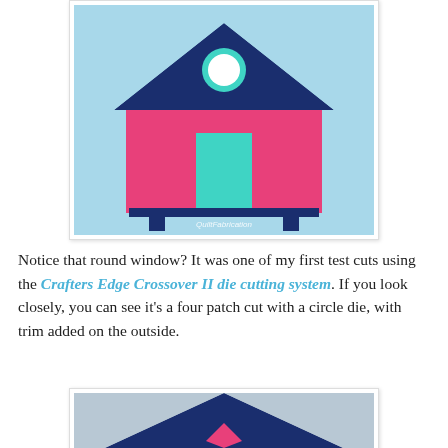[Figure (photo): A quilt block depicting a beach hut/house. The house has a light blue background, a deep navy blue triangular roof, a hot pink body with a teal/cyan rectangular door in the center, a circular window with teal border at the top of the house peak, and dark navy blue stilts/legs underneath. Watermark reads 'QuiltFabrication'.]
Notice that round window? It was one of my first test cuts using the Crafters Edge Crossover II die cutting system. If you look closely, you can see it's a four patch cut with a circle die, with trim added on the outside.
[Figure (photo): Partial view of another quilt block showing a navy blue triangular roof against a light gray/blue background, with a hot pink diamond/square shape visible at the bottom center of the roof.]